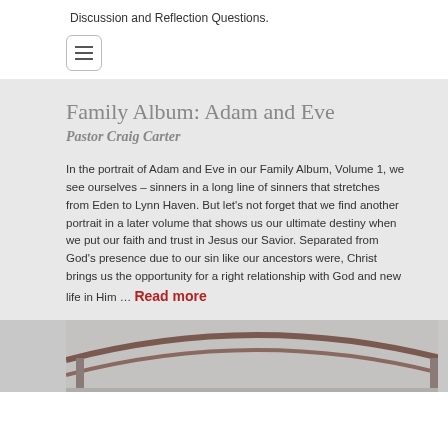Discussion and Reflection Questions.
[Figure (other): Hamburger menu button icon]
Family Album: Adam and Eve
Pastor Craig Carter
In the portrait of Adam and Eve in our Family Album, Volume 1, we see ourselves – sinners in a long line of sinners that stretches from Eden to Lynn Haven. But let's not forget that we find another portrait in a later volume that shows us our ultimate destiny when we put our faith and trust in Jesus our Savior. Separated from God's presence due to our sin like our ancestors were, Christ brings us the opportunity for a right relationship with God and new life in Him … Read more
[Figure (photo): Interior of a church building showing curved roof architecture]